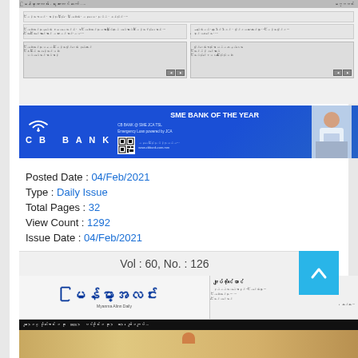[Figure (screenshot): Myanmar newspaper website screenshot showing article thumbnails with Myanmar script text]
[Figure (photo): CB Bank advertisement banner - SME Bank of the Year, showing CB Bank logo, wifi symbol, QR code and woman at laptop]
Posted Date : 04/Feb/2021
Type : Daily Issue
Total Pages : 32
View Count : 1292
Issue Date : 04/Feb/2021
Vol : 60, No. : 126
[Figure (screenshot): Myanma Alin Daily newspaper front page preview showing masthead with Myanmar script logo and photo of interior room]